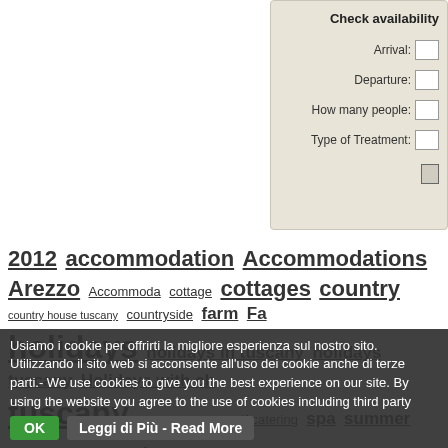[Figure (screenshot): Check availability form panel with fields: Arrival, Departure, How many people, Type of Treatment, and a submit button]
2012 accommodation Accommodations Arezzo Accommodations cottage cottages country country house tuscany countryside farm Farm holidays holidays in tuscany holidays tuscany Holidays with children tuscany rent villa tuscany self catering spa summer swimming pool tuscany tuscany villas in tuscany villa volterra Volterra wine
Usiamo i cookie per offrirti la migliore esperienza sul nostro sito. Utilizzando il sito web si acconsente all'uso dei cookie anche di terze parti.- We use cookies to give you the best experience on our site. By using the website you agree to the use of cookies including third party
OK | Leggi di Più - Read More